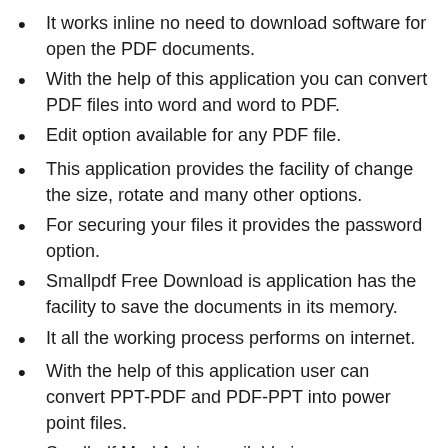It works inline no need to download software for open the PDF documents.
With the help of this application you can convert PDF files into word and word to PDF.
Edit option available for any PDF file.
This application provides the facility of change the size, rotate and many other options.
For securing your files it provides the password option.
Smallpdf Free Download is application has the facility to save the documents in its memory.
It all the working process performs on internet.
With the help of this application user can convert PPT-PDF and PDF-PPT into power point files.
Smallpdf Mod Apk is available in many languages.